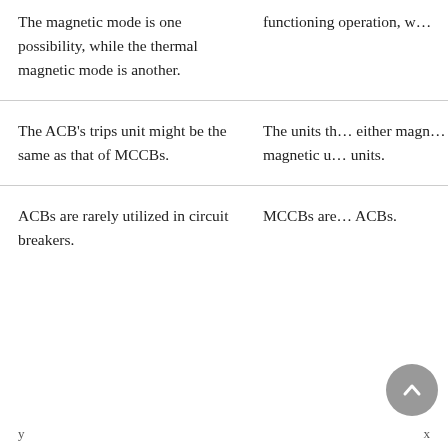| ACB | MCCB |
| --- | --- |
| The magnetic mode is one possibility, while the thermal magnetic mode is another. | functioning operation, w… |
| The ACB's trips unit might be the same as that of MCCBs. | The units th… either magn… magnetic u… units. |
| ACBs are rarely utilized in circuit breakers. | MCCBs are… ACBs. |